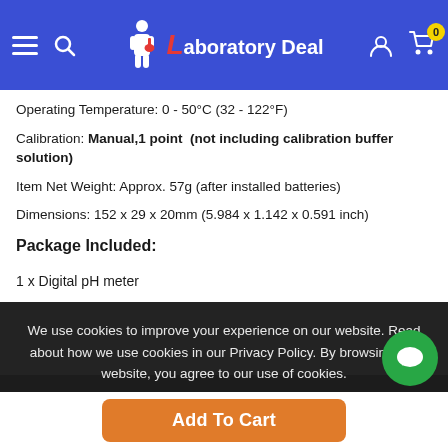Laboratory Deal
Operating Temperature: 0 - 50°C (32 - 122°F)
Calibration: Manual,1 point  (not including calibration buffer solution)
Item Net Weight: Approx. 57g (after installed batteries)
Dimensions: 152 x 29 x 20mm (5.984 x 1.142 x 0.591 inch)
Package Included:
1 x Digital pH meter
We use cookies to improve your experience on our website. Read about how we use cookies in our Privacy Policy. By browsing this website, you agree to our use of cookies.